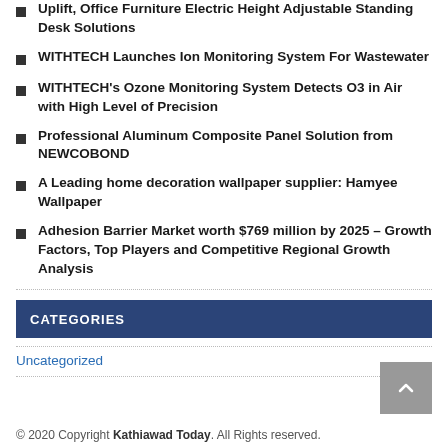Uplift, Office Furniture Electric Height Adjustable Standing Desk Solutions
WITHTECH Launches Ion Monitoring System For Wastewater
WITHTECH's Ozone Monitoring System Detects O3 in Air with High Level of Precision
Professional Aluminum Composite Panel Solution from NEWCOBOND
A Leading home decoration wallpaper supplier: Hamyee Wallpaper
Adhesion Barrier Market worth $769 million by 2025 – Growth Factors, Top Players and Competitive Regional Growth Analysis
CATEGORIES
Uncategorized
© 2020 Copyright Kathiawad Today. All Rights reserved.